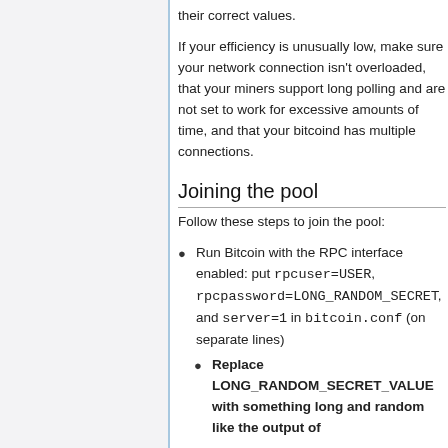their correct values.
If your efficiency is unusually low, make sure your network connection isn't overloaded, that your miners support long polling and are not set to work for excessive amounts of time, and that your bitcoind has multiple connections.
Joining the pool
Follow these steps to join the pool:
Run Bitcoin with the RPC interface enabled: put rpcuser=USER, rpcpassword=LONG_RANDOM_SECRET, and server=1 in bitcoin.conf (on separate lines)
Replace LONG_RANDOM_SECRET_VALUE with something long and random like the output of